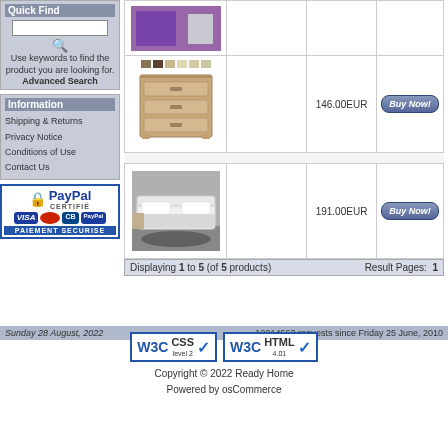Quick Find
Use keywords to find the product you are looking for.
Advanced Search
Information
Shipping & Returns
Privacy Notice
Conditions of Use
Contact Us
[Figure (logo): PayPal certified payment badge with Visa, Mastercard, CB, PayPal logos and PAIEMENT SECURISE label]
| Image | Product | Price | Buy |
| --- | --- | --- | --- |
| [furniture image] |  | 146.00EUR | Buy Now! |
| [bed image] |  | 191.00EUR | Buy Now! |
Displaying 1 to 5 (of 5 products)   Result Pages: 1
Sunday 28 August, 2022    12214563 requests since Friday 25 June, 2010
[Figure (logo): W3C CSS level 2 validation badge]
[Figure (logo): W3C HTML 4.01 validation badge]
Copyright © 2022 Ready Home
Powered by osCommerce